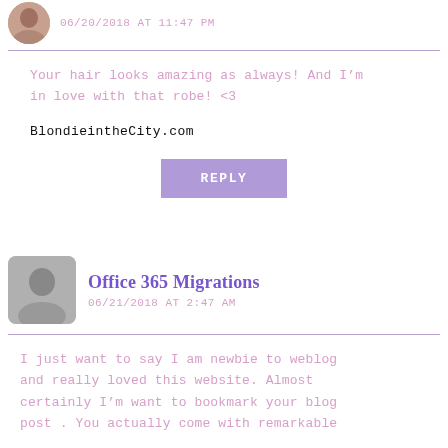06/20/2018 AT 11:47 PM
Your hair looks amazing as always! And I’m in love with that robe! <3
BlondieintheCity.com
REPLY
Office 365 Migrations
06/21/2018 AT 2:47 AM
I just want to say I am newbie to weblog and really loved this website. Almost certainly I’m want to bookmark your blog post . You actually come with remarkable